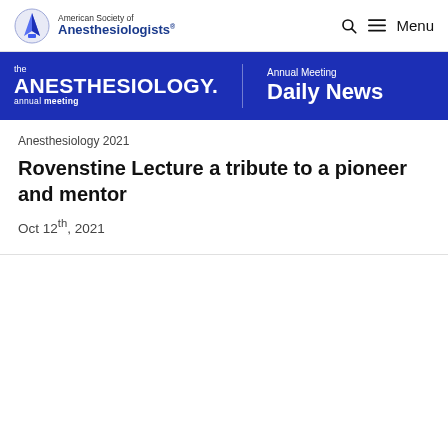American Society of Anesthesiologists — Menu
[Figure (logo): ASA banner with 'the ANESTHESIOLOGY. annual meeting' and 'Annual Meeting Daily News']
Anesthesiology 2021
Rovenstine Lecture a tribute to a pioneer and mentor
Oct 12th, 2021